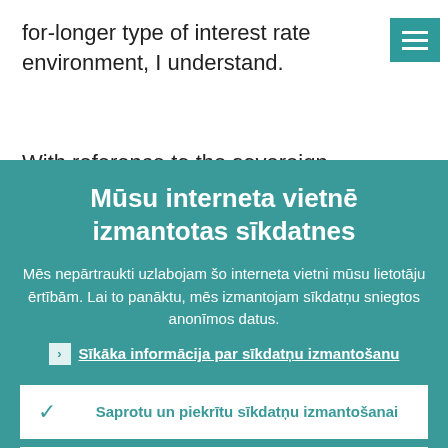for-longer type of interest rate environment, I understand.
[Figure (screenshot): Hamburger menu button (teal background with three white horizontal lines)]
With reference to the sovereign exposures
Mūsu interneta vietnē izmantotas sīkdatnes
Mēs nepārtraukti uzlabojam šo interneta vietni mūsu lietotāju ērtībām. Lai to panāktu, mēs izmantojam sīkdatņu sniegtos anonīmos datus.
Sīkāka informācija par sīkdatņu izmantošanu
Saprotu un piekrītu sīkdatņu izmantošanai
Nepiekrītu sīkdatņu izmantošanai